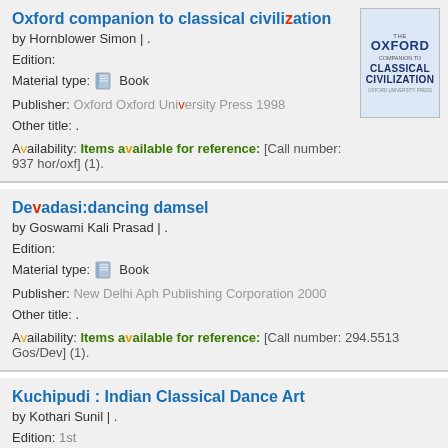Oxford companion to classical civilization
by Hornblower Simon | .
Edition:
Material type: Book
Publisher: Oxford Oxford University Press 1998
Other title: .
Availability: Items available for reference: [Call number: 937 hor/oxf] (1).
[Figure (photo): Book cover of Oxford Companion to Classical Civilization]
Devadasi:dancing damsel
by Goswami Kali Prasad | .
Edition:
Material type: Book
Publisher: New Delhi Aph Publishing Corporation 2000
Other title: .
Availability: Items available for reference: [Call number: 294.5513 Gos/Dev] (1).
Kuchipudi : Indian Classical Dance Art
by Kothari Sunil | .
Edition: 1st